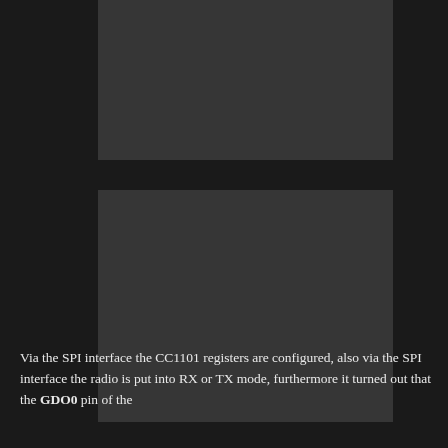[Figure (other): Partially visible image/screenshot at top of page, dark background with content not fully readable]
[Figure (other): Large image/screenshot below the first, dark background with content not fully readable]
Via the SPI interface the CC1101 registers are configured, also via the SPI interface the radio is put into RX or TX mode, furthermore it turned out that the GDO0 pin of the